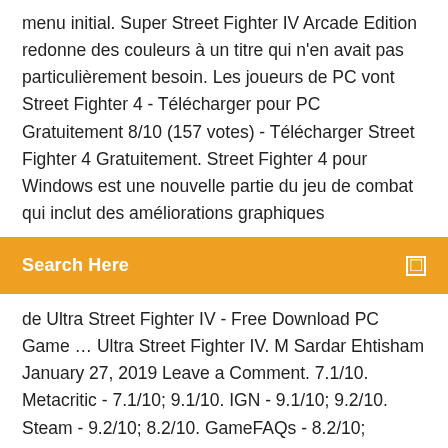menu initial. Super Street Fighter IV Arcade Edition redonne des couleurs à un titre qui n'en avait pas particulièrement besoin. Les joueurs de PC vont Street Fighter 4 - Télécharger pour PC Gratuitement 8/10 (157 votes) - Télécharger Street Fighter 4 Gratuitement. Street Fighter 4 pour Windows est une nouvelle partie du jeu de combat qui inclut des améliorations graphiques
Search Here
de Ultra Street Fighter IV - Free Download PC Game … Ultra Street Fighter IV. M Sardar Ehtisham January 27, 2019 Leave a Comment. 7.1/10. Metacritic - 7.1/10; 9.1/10. IGN - 9.1/10; 9.2/10. Steam - 9.2/10; 8.2/10. GameFAQs - 8.2/10; Sending User Review 0 (0 votes) Free Download – For PC – PC Game Ultra Street Fighter 4 is an Action / Fighting video game. System Requirements. Minimum OS: Windows Vista/7/8 CPU: Intel Core 2 Duo 2.0 GHz or
Ultra Street Fighter IV é um programa desenvolvido por